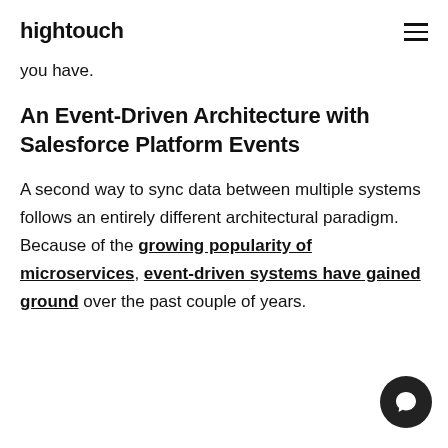hightouch
you have.
An Event-Driven Architecture with Salesforce Platform Events
A second way to sync data between multiple systems follows an entirely different architectural paradigm. Because of the growing popularity of microservices, event-driven systems have gained ground over the past couple of years.